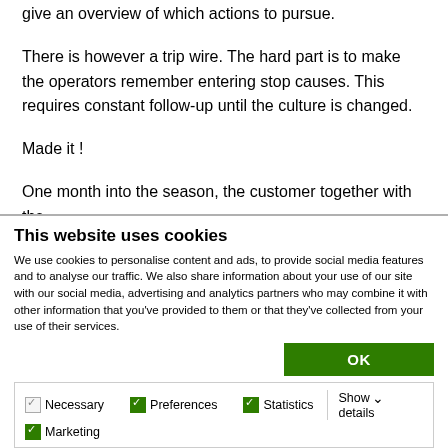give an overview of which actions to pursue.
There is however a trip wire. The hard part is to make the operators remember entering stop causes. This requires constant follow-up until the culture is changed.
Made it !
One month into the season, the customer together with the
This website uses cookies
We use cookies to personalise content and ads, to provide social media features and to analyse our traffic. We also share information about your use of our site with our social media, advertising and analytics partners who may combine it with other information that you've provided to them or that they've collected from your use of their services.
OK
Necessary  Preferences  Statistics  Marketing  Show details